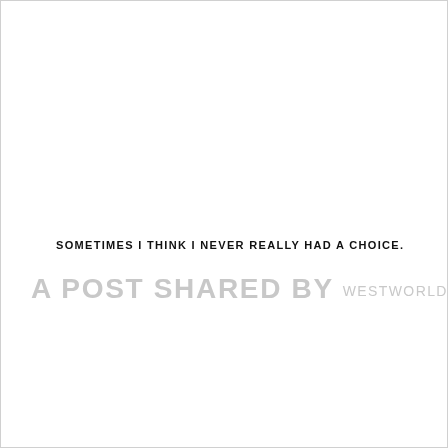SOMETIMES I THINK I NEVER REALLY HAD A CHOICE.
A POST SHARED BY WESTWORLD (@...